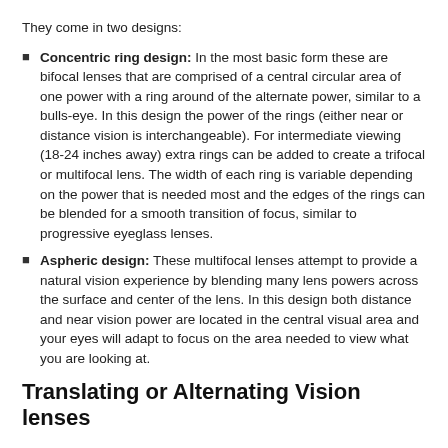They come in two designs:
Concentric ring design: In the most basic form these are bifocal lenses that are comprised of a central circular area of one power with a ring around of the alternate power, similar to a bulls-eye. In this design the power of the rings (either near or distance vision is interchangeable). For intermediate viewing (18-24 inches away) extra rings can be added to create a trifocal or multifocal lens. The width of each ring is variable depending on the power that is needed most and the edges of the rings can be blended for a smooth transition of focus, similar to progressive eyeglass lenses.
Aspheric design: These multifocal lenses attempt to provide a natural vision experience by blending many lens powers across the surface and center of the lens. In this design both distance and near vision power are located in the central visual area and your eyes will adapt to focus on the area needed to view what you are looking at.
Translating or Alternating Vision lenses